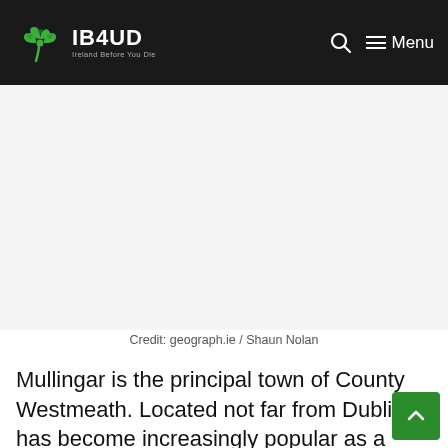IB4UD — Ireland Before You Die
[Figure (photo): Photograph of Mullingar, County Westmeath, Ireland. Image area appears blank/white in this capture.]
Credit: geograph.ie / Shaun Nolan
Mullingar is the principal town of County Westmeath. Located not far from Dublin, it has become increasingly popular as a